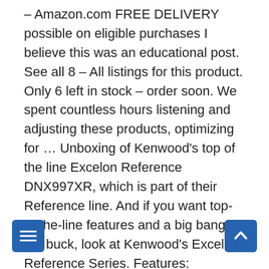– Amazon.com FREE DELIVERY possible on eligible purchases I believe this was an educational post. See all 8 – All listings for this product. Only 6 left in stock – order soon. We spent countless hours listening and adjusting these products, optimizing for … Unboxing of Kenwood's top of the line Excelon Reference DNX997XR, which is part of their Reference line. And if you want top-of-the-line features and a big bang for the buck, look at Kenwood's Excelon Reference Series. Features: component speaker system includes 2 woofers, 2 tweeters, and 2 crossovers Model #: XR-1801P Item #: 9SIACPNB0R7470 Return Policy: View Return Policy $399.00 – Descubre la mejor forma de comprar online. Kenwood Excelon DNX997XR 6.75" Motorized DVD/CD Navigation Receiver w/ AM/FM Tuner Built-in Gracenote Navigation